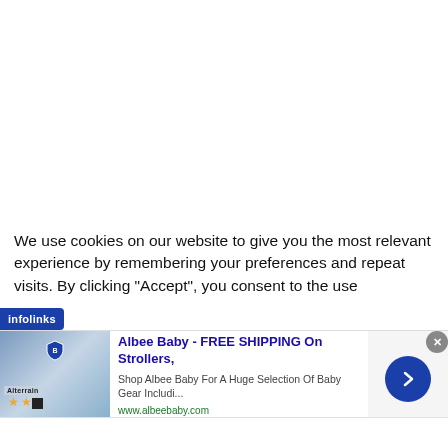[Figure (other): Large white blank area at top of page]
We use cookies on our website to give you the most relevant experience by remembering your preferences and repeat visits. By clicking “Accept”, you consent to the use of the cookies.
[Figure (other): infolinks badge overlay on left side]
[Figure (other): Advertisement banner: Albee Baby - FREE SHIPPING On Strollers, Shop Albee Baby For A Huge Selection Of Baby Gear Includi..., www.albeebaby.com, with close button and arrow button, Alterrain image on left]